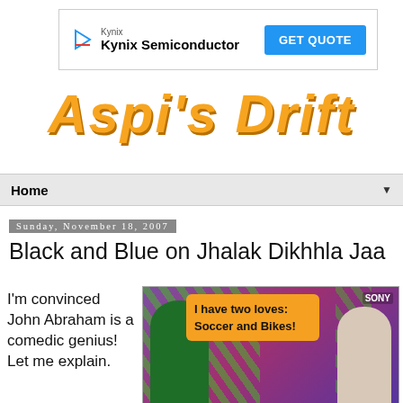[Figure (other): Kynix Semiconductor advertisement banner with GET QUOTE button]
Aspi's Drift
Home
Sunday, November 18, 2007
Black and Blue on Jhalak Dikhhla Jaa
I'm convinced John Abraham is a comedic genius! Let me explain.
[Figure (photo): Photo from Jhalak Dikhhla Jaa TV show with speech bubble saying 'I have two loves: Soccer and Bikes!' overlaid, showing two people on a colorful stage set with Sony logo visible]